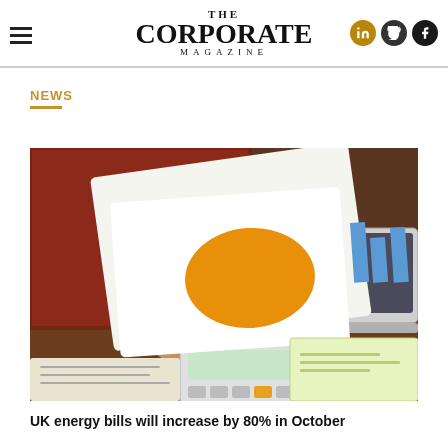THE CORPORATE MAGAZINE
NEWS
[Figure (photo): Person holding financial chart papers and using a calculator on a desk with a laptop in the background]
UK energy bills will increase by 80% in October